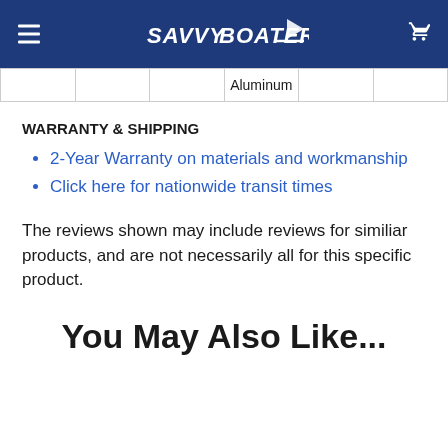SavvyBoater
|  |  |  | Aluminum |  |  |
WARRANTY & SHIPPING
2-Year Warranty on materials and workmanship
Click here for nationwide transit times
The reviews shown may include reviews for similiar products, and are not necessarily all for this specific product.
You May Also Like...